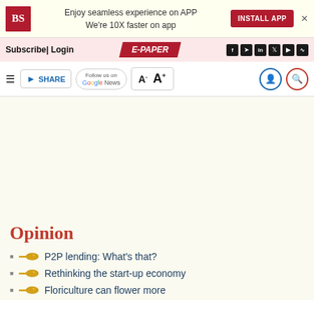BS | Enjoy seamless experience on APP We're 10X faster on app | INSTALL APP
Subscribe| Login | E-PAPER
SHARE | Follow us on Google News | A- A+
Opinion
P2P lending: What's that?
Rethinking the start-up economy
Floriculture can flower more